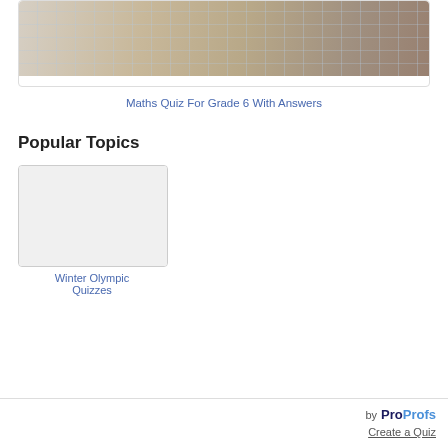[Figure (photo): Photo of a student's hand working on math problems in a grid notebook]
Maths Quiz For Grade 6 With Answers
Popular Topics
[Figure (photo): Thumbnail image placeholder for Winter Olympic Quizzes]
Winter Olympic Quizzes
by ProProfs Create a Quiz